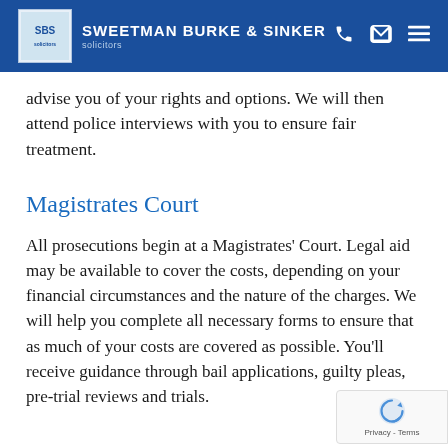SWEETMAN BURKE & SINKER solicitors
advise you of your rights and options. We will then attend police interviews with you to ensure fair treatment.
Magistrates Court
All prosecutions begin at a Magistrates' Court. Legal aid may be available to cover the costs, depending on your financial circumstances and the nature of the charges. We will help you complete all necessary forms to ensure that as much of your costs are covered as possible. You'll receive guidance through bail applications, guilty pleas, pre-trial reviews and trials.